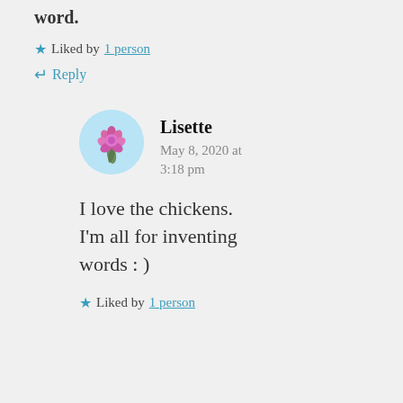word.
★ Liked by 1 person
↵ Reply
Lisette
May 8, 2020 at 3:18 pm
I love the chickens. I'm all for inventing words : )
★ Liked by 1 person